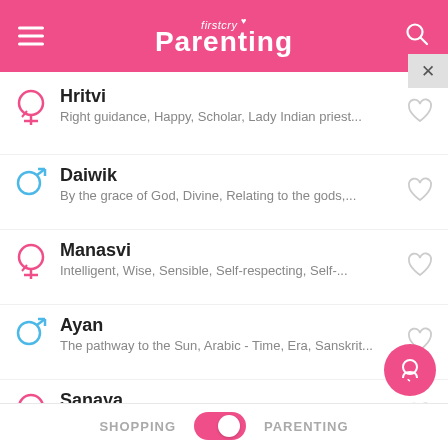firstcry Parenting
Hritvi — Right guidance, Happy, Scholar, Lady Indian priest...
Daiwik — By the grace of God, Divine, Relating to the gods,...
Manasvi — Intelligent, Wise, Sensible, Self-respecting, Self-...
Ayan — The pathway to the Sun, Arabic - Time, Era, Sanskrit...
Sanaya — Eminent, Distinguished, Born on saturday, First Ray...
Aahan
SHOPPING   PARENTING